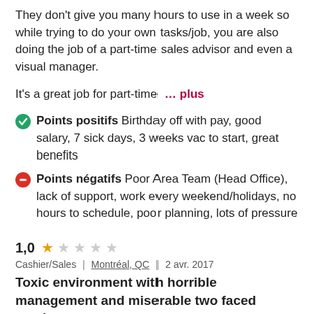They don't give you many hours to use in a week so while trying to do your own tasks/job, you are also doing the job of a part-time sales advisor and even a visual manager.
It's a great job for part-time … plus
Points positifs Birthday off with pay, good salary, 7 sick days, 3 weeks vac to start, great benefits
Points négatifs Poor Area Team (Head Office), lack of support, work every weekend/holidays, no hours to schedule, poor planning, lots of pressure
1,0 ★☆☆☆☆
Cashier/Sales | Montréal, QC | 2 avr. 2017
Toxic environment with horrible management and miserable two faced employees
A typical day includes literally running around the store. Every hour, your tasks change. So in a 6 hour